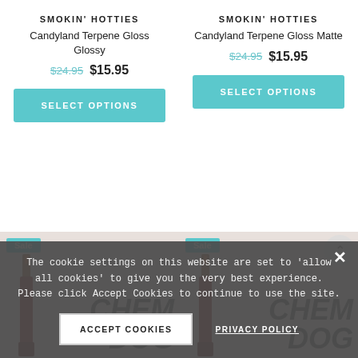SMOKIN' HOTTIES
Candyland Terpene Gloss Glossy
$24.95  $15.95
SELECT OPTIONS
SMOKIN' HOTTIES
Candyland Terpene Gloss Matte
$24.95  $15.95
SELECT OPTIONS
Sale
Sale
The cookie settings on this website are set to 'allow all cookies' to give you the very best experience. Please click Accept Cookies to continue to use the site.
ACCEPT COOKIES
PRIVACY POLICY